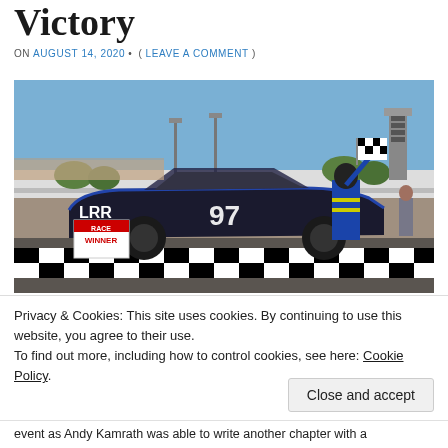Victory
ON AUGUST 14, 2020 • ( LEAVE A COMMENT )
[Figure (photo): A race car driver in a blue and yellow racing suit holds a checkered flag, standing beside a #97 black and blue LRR late model stock car on a racetrack finish line with a checkered pattern. A 'Race Winner' sign is visible near the car. The background shows a racetrack facility with grandstands, trees, and a timing tower under a clear blue sky.]
Privacy & Cookies: This site uses cookies. By continuing to use this website, you agree to their use.
To find out more, including how to control cookies, see here: Cookie Policy.
Close and accept
event as Andy Kamrath was able to write another chapter with a